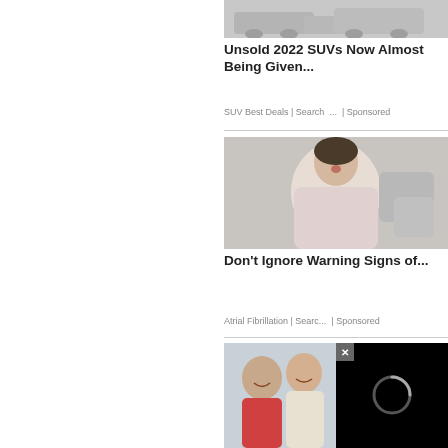[Figure (photo): Partial view of SUVs parked outdoors, light gray/beige setting]
Unsold 2022 SUVs Now Almost Being Given...
SUV Best Deals | Search ... | Sponsored
[Figure (photo): Woman sitting on a couch holding her chest/throat, appearing distressed, wearing a light pink top]
Don't Ignore Warning Signs of...
Atrial Fibrillation | Searc... | Sponsored
[Figure (photo): Partial view of two people smiling, and a black video player overlay with a loading spinner and a close (x) button]